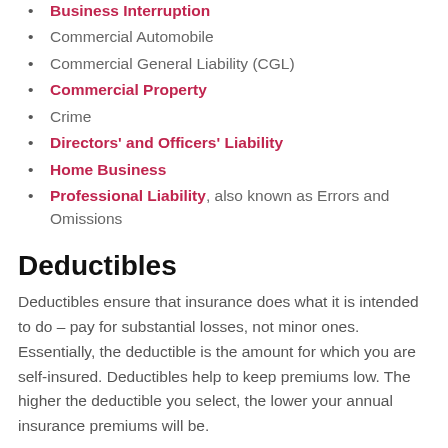Business Interruption
Commercial Automobile
Commercial General Liability (CGL)
Commercial Property
Crime
Directors' and Officers' Liability
Home Business
Professional Liability, also known as Errors and Omissions
Deductibles
Deductibles ensure that insurance does what it is intended to do – pay for substantial losses, not minor ones. Essentially, the deductible is the amount for which you are self-insured. Deductibles help to keep premiums low. The higher the deductible you select, the lower your annual insurance premiums will be.